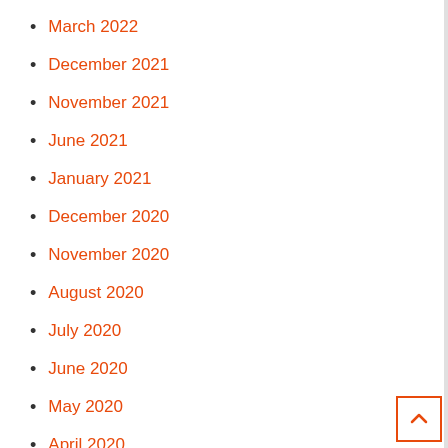March 2022
December 2021
November 2021
June 2021
January 2021
December 2020
November 2020
August 2020
July 2020
June 2020
May 2020
April 2020
March 2020
February 2020